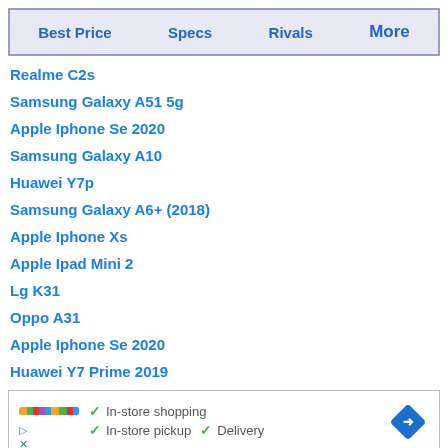| Best Price | Specs | Rivals | More |
| --- | --- | --- | --- |
Realme C2s
Samsung Galaxy A51 5g
Apple Iphone Se 2020
Samsung Galaxy A10
Huawei Y7p
Samsung Galaxy A6+ (2018)
Apple Iphone Xs
Apple Ipad Mini 2
Lg K31
Oppo A31
Apple Iphone Se 2020
Huawei Y7 Prime 2019
[Figure (other): Advertisement banner with store logo, checkmarks for In-store shopping, In-store pickup, Delivery, and a blue navigation icon]